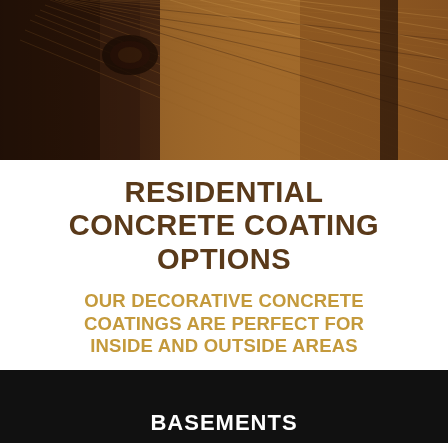[Figure (photo): Close-up photograph of a textured wood surface with grain lines and a knot, showing warm brown tones with striations running diagonally.]
RESIDENTIAL CONCRETE COATING OPTIONS
OUR DECORATIVE CONCRETE COATINGS ARE PERFECT FOR INSIDE AND OUTSIDE AREAS
BASEMENTS